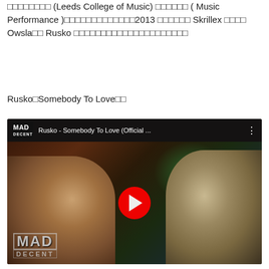□□□□□□□□ (Leeds College of Music) □□□□□□ ( Music Performance )□□□□□□□□□□□□□2013 □□□□□□ Skrillex □□□□ Owsla□□ Rusko □□□□□□□□□□□□□□□□□□□□□
Rusko□Somebody To Love□□
[Figure (screenshot): YouTube video thumbnail for Rusko - Somebody To Love (Official ...) on Mad Decent channel. Shows two people facing each other with bokeh background lighting in green and blue. Red play button in center. MAD DECENT logo watermark in lower left corner.]